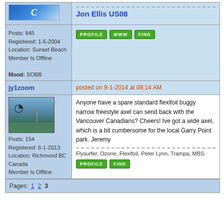[Figure (logo): Partial logo image cropped at top]
Posts: 845
Registered: 1-5-2004
Location: Sunset Beach
Member Is Offline

Mood: SOBB
Jon Ellis US08
[Figure (other): PROFILE, WWW, FIND buttons]
jy1zoom
posted on 9-1-2014 at 08:14 AM
[Figure (photo): Avatar photo of kite buggy scene]
Posts: 154
Registered: 6-1-2013
Location: Richmond BC Canada
Member Is Offline
Anyone have a spare standard flexifoil buggy narrow freestyle axel can send back with the Vancouver Canadians? Cheers! Ive got a wide axel, which is a bit cumbersome for the local Garry Point park. Jeremy
Flysurfer, Ozone, Flexifoil, Peter Lynn, Trampa, MBS
[Figure (other): PROFILE, FIND buttons]
Pages: 1 2 3